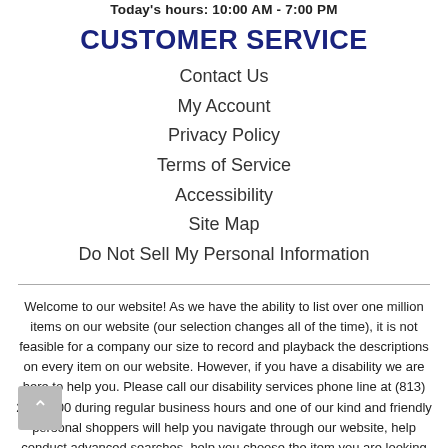Today's hours: 10:00 AM - 7:00 PM
CUSTOMER SERVICE
Contact Us
My Account
Privacy Policy
Terms of Service
Accessibility
Site Map
Do Not Sell My Personal Information
Welcome to our website! As we have the ability to list over one million items on our website (our selection changes all of the time), it is not feasible for a company our size to record and playback the descriptions on every item on our website. However, if you have a disability we are here to help you. Please call our disability services phone line at (813) 242-9500 during regular business hours and one of our kind and friendly personal shoppers will help you navigate through our website, help conduct advanced searches, help you choose the item you are looking for with the specifications you are seeking, read you the specifications of any item and consult with you about the products themselves. There is no charge for the help of this